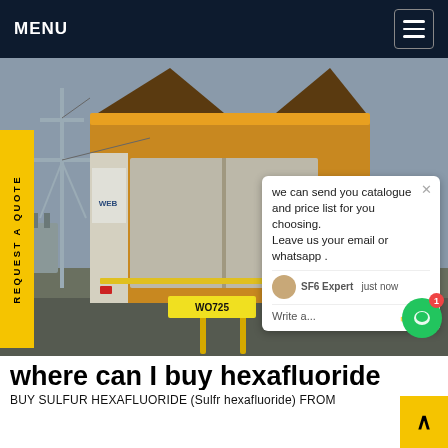MENU
[Figure (photo): Rear view of a yellow truck/vehicle with open doors parked at an electrical substation with high-voltage transmission towers in the background. Yellow license plate reads WO725. A sign is visible on the left door panel.]
REQUEST A QUOTE
we can send you catalogue and price list for you choosing. Leave us your email or whatsapp .
SF6 Expert   just now
Write a...
SF6China
where can I buy hexafluoride
BUY SULFUR HEXAFLUORIDE (Sulfr hexafluoride) FROM